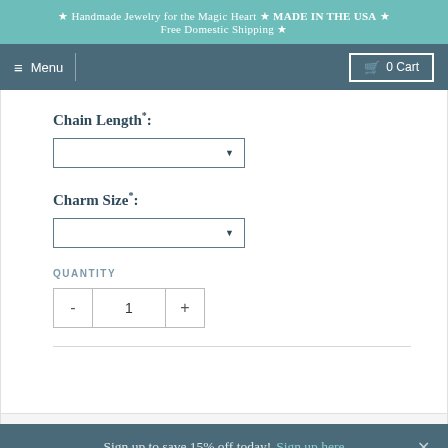★ Handmade Jewelry for the Magic Heart ★ MADE IN THE USA ★ Free Domestic Shipping ★
≡ Menu | 0 Cart
Chain Length*:
Charm Size*:
QUANTITY
- 1 +
Sign up to save 15% off today! Sign up here